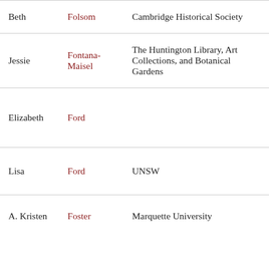| Beth | Folsom | Cambridge Historical Society |
| Jessie | Fontana-Maisel | The Huntington Library, Art Collections, and Botanical Gardens |
| Elizabeth | Ford |  |
| Lisa | Ford | UNSW |
| A. Kristen | Foster | Marquette University |